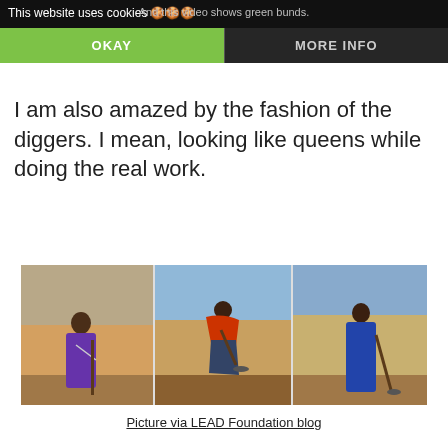And this video shows green bunds.
This website uses cookies 🍪🍪🍪
OKAY
MORE INFO
I am also amazed by the fashion of the diggers. I mean, looking like queens while doing the real work.
[Figure (photo): Three photos side by side of women in traditional African dress digging with shovels in arid landscape]
Picture via LEAD Foundation blog